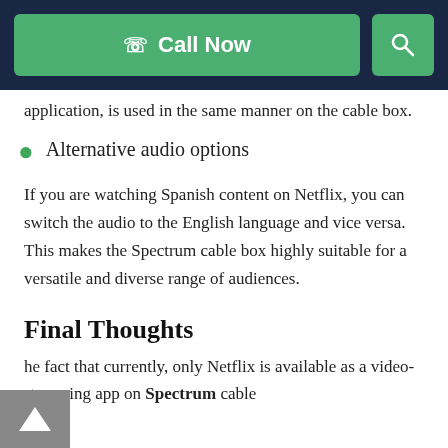Call Now
application, is used in the same manner on the cable box.
Alternative audio options
If you are watching Spanish content on Netflix, you can switch the audio to the English language and vice versa. This makes the Spectrum cable box highly suitable for a versatile and diverse range of audiences.
Final Thoughts
he fact that currently, only Netflix is available as a video-streaming app on Spectrum cable